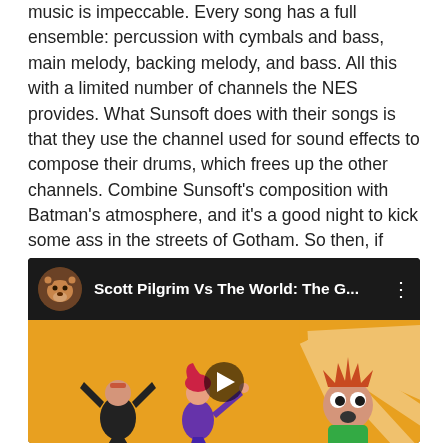music is impeccable. Every song has a full ensemble: percussion with cymbals and bass, main melody, backing melody, and bass. All this with a limited number of channels the NES provides. What Sunsoft does with their songs is that they use the channel used for sound effects to compose their drums, which frees up the other channels. Combine Sunsoft's composition with Batman's atmosphere, and it's a good night to kick some ass in the streets of Gotham. So then, if Rocksteady makes another Batman game, which Sunsoft Batman song would you want them to remix?
[Figure (screenshot): Embedded YouTube video player showing 'Scott Pilgrim Vs The World: The G...' with a channel avatar (dog/bear image), three-dot menu, and a thumbnail showing animated characters on a yellow background with a play button]